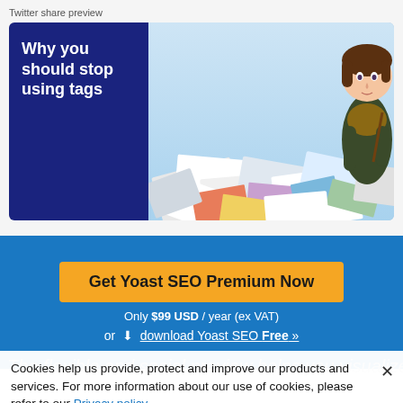Twitter share preview
[Figure (screenshot): Twitter share preview card showing dark navy left panel with white text 'Why you should stop using tags' and right panel with illustrated woman standing among scattered colorful documents/cards on a light blue sky background]
Get Yoast SEO Premium Now
Only $99 USD / year (ex VAT)
or ↓ download Yoast SEO Free »
Cookies help us provide, protect and improve our products and services. For more information about our use of cookies, please refer to our Privacy policy.